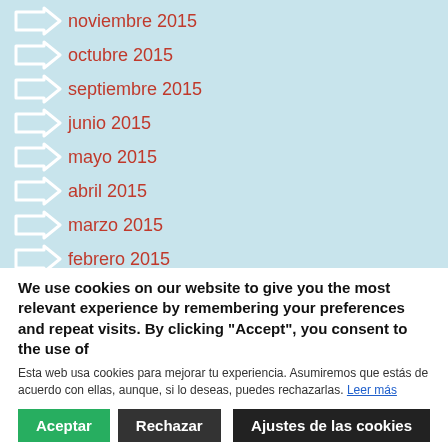noviembre 2015
octubre 2015
septiembre 2015
junio 2015
mayo 2015
abril 2015
marzo 2015
febrero 2015
octubre 2014
We use cookies on our website to give you the most relevant experience by remembering your preferences and repeat visits. By clicking "Accept", you consent to the use of
Esta web usa cookies para mejorar tu experiencia. Asumiremos que estás de acuerdo con ellas, aunque, si lo deseas, puedes rechazarlas. Leer más
Aceptar | Rechazar | Ajustes de las cookies